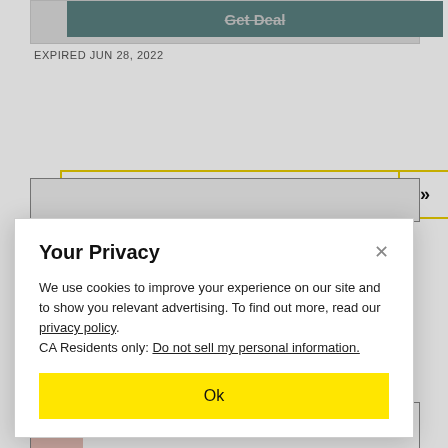[Figure (screenshot): Expired deal button with strikethrough 'Get Deal' text on teal background, inside gray bordered box]
EXPIRED JUN 28, 2022
[Figure (other): MORE KROGER DEALS THIS WAY button with double chevron arrow, yellow border]
[Figure (screenshot): Partial deal box visible below the Kroger deals button, gray background]
Your Privacy
We use cookies to improve your experience on our site and to show you relevant advertising. To find out more, read our privacy policy. CA Residents only: Do not sell my personal information.
[Figure (other): Ok button in yellow]
Gift Set, Just $9.45 on Amazon